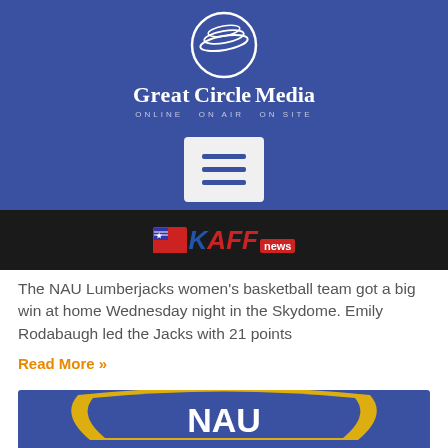[Figure (logo): Great Circle Media logo with circular emblem and tagline ONLINE ON AIR ON SITE on blue background, with hamburger menu button below]
[Figure (logo): KAFF news logo on dark/black bar - flag icon with KAFF in blue/red italic text and 'news' in red box]
The NAU Lumberjacks women's basketball team got a big win at home Wednesday night in the Skydome. Emily Rodabaugh led the Jacks with 21 points
Read More »
[Figure (photo): NAU (Northern Arizona University) shield/crest logo on blue background with gold curved elements and white NAU letters]